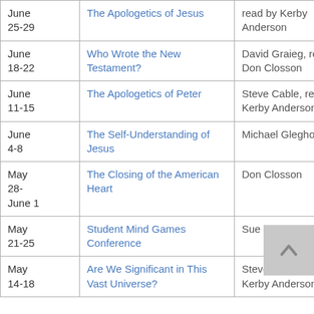| Date | Title | Author | Download |
| --- | --- | --- | --- |
| June 25-29 | The Apologetics of Jesus | read by Kerby Anderson | Download |
| June 18-22 | Who Wrote the New Testament? | David Graieg, read by Don Closson | Download |
| June 11-15 | The Apologetics of Peter | Steve Cable, read by Kerby Anderson | Download |
| June 4-8 | The Self-Understanding of Jesus | Michael Gleghorn | Download |
| May 28-June 1 | The Closing of the American Heart | Don Closson | Download |
| May 21-25 | Student Mind Games Conference | Sue Bohlin | Download |
| May 14-18 | Are We Significant in This Vast Universe? | Steve Cable, read by Kerby Anderson | Download |